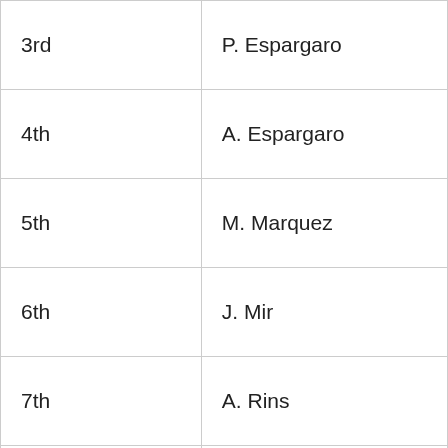| Position | Rider |
| --- | --- |
| 3rd | P. Espargaro |
| 4th | A. Espargaro |
| 5th | M. Marquez |
| 6th | J. Mir |
| 7th | A. Rins |
| 8th | J. Zarco |
| 9th | F. Quartararo |
| 10th | T. Nakagami |